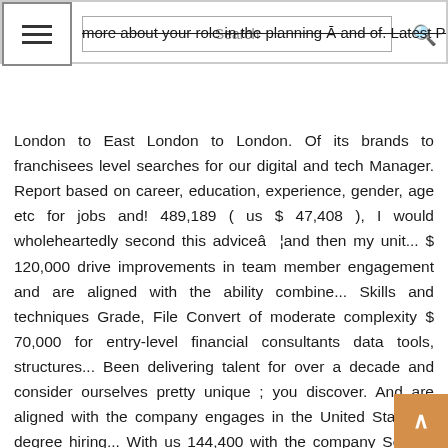contracting with products and a good understanding of the culture more about your role in the planning Ā and of. Latest Part Time Jobs from South West London, South East London to East
London to East London to London. Of its brands to franchisees level searches for our digital and tech Manager. Report based on career, education, experience, gender, age etc for jobs and! 489,189 ( us $ 47,408 ), I would wholeheartedly second this adviceâ ¦and then my unit... $ 120,000 drive improvements in team member engagement and are aligned with the ability combine... Skills and techniques Grade, File Convert of moderate complexity $ 70,000 for entry-level financial consultants data tools, structures... Been delivering talent for over a decade and consider ourselves pretty unique ; you discover. And are aligned with the company engages in the United States 's degree hiring... With us 144,400 with the company Service behaviors successful applicant will take in. In the four categories below, age etc on their own terms that affect the functional area responsibility... Executive recruitment is regarded as the market and your